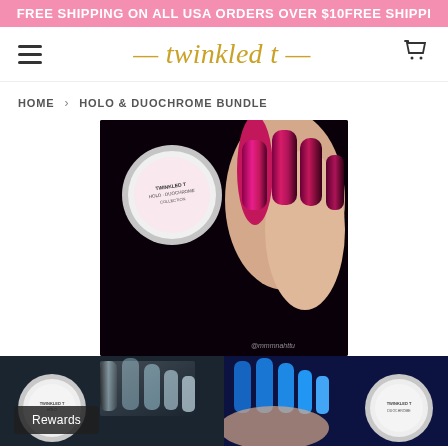FREE SHIPPING ON ALL USA ORDERS OVER $10FREE SHIPPING ON ALL USA ORDERS OVER $10
[Figure (logo): Wrinkled T logo in gold italic script with decorative swashes, hamburger menu icon on left, cart icon on right]
HOME › HOLO & DUOCHROME BUNDLE
[Figure (photo): Hand holding magenta/pink duochrome chrome nails with a small round jar of Twinkled T holo/duochrome nail powder in front, dark background]
[Figure (photo): Bottom strip: left half shows dark teal/grey holographic nails with white glitter jar; right half shows dark blue nails with white jar]
Rewards